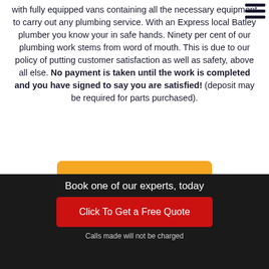with fully equipped vans containing all the necessary equipment to carry out any plumbing service. With an Express local Batley plumber you know your in safe hands. Ninety per cent of our plumbing work stems from word of mouth. This is due to our policy of putting customer satisfaction as well as safety, above all else. No payment is taken until the work is completed and you have signed to say you are satisfied! (deposit may be required for parts purchased).
[Figure (other): Hamburger menu icon with three horizontal lines in dark navy]
Contact us
Book one of our experts, today
Click To Get a Free Quote
Calls made will not be charged